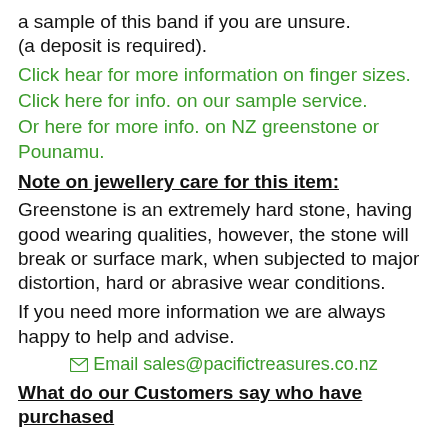a sample of this band if you are unsure. (a deposit is required).
Click hear for more information on finger sizes.
Click here for info. on our sample service.
Or here for more info. on NZ greenstone or Pounamu.
Note on jewellery care for this item:
Greenstone is an extremely hard stone, having good wearing qualities, however, the stone will break or surface mark, when subjected to major distortion, hard or abrasive wear conditions.
If you need more information we are always happy to help and advise.
Email sales@pacifictreasures.co.nz
What do our Customers say who have purchased